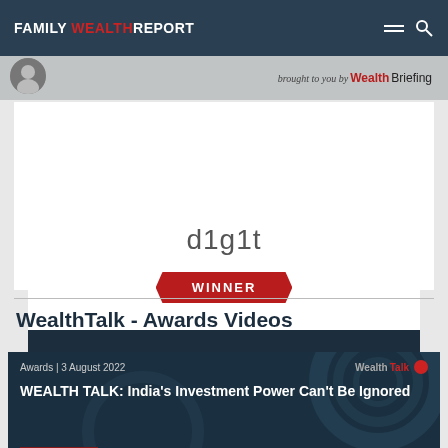FAMILY WEALTH REPORT
[Figure (logo): WealthBriefing logo with 'brought to you by' text]
[Figure (logo): d1g1t winner award card - LEADING INDIVIDUAL (CANADA)]
WealthTalk - Awards Videos
[Figure (screenshot): Video thumbnail: WEALTH TALK: India's Investment Power Can't Be Ignored - Awards | 3 August 2022 - WEALTHTALK tag]